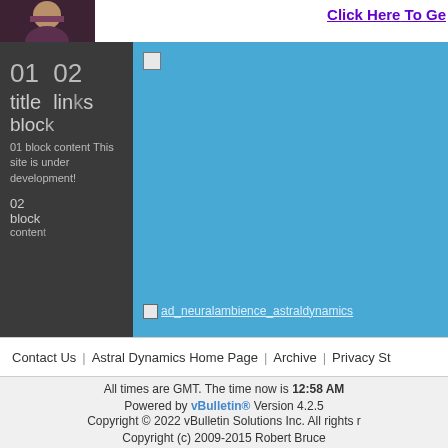[Figure (photo): Header area with a person's photo on the left and a purple bold link 'Click Here To Ge' (truncated) on the right]
[Figure (screenshot): Left dark panel with numbered blocks: 01 title block content 'This site is under development!', 02 links block and 02 block content text]
[Figure (screenshot): Right blue panel with broken image icons and ad link 'ad_neuralambience_astraldynamics']
Contact Us | Astral Dynamics Home Page | Archive | Privacy St
All times are GMT. The time now is 12:58 AM
Powered by vBulletin® Version 4.2.5
Copyright © 2022 vBulletin Solutions Inc. All rights r
Copyright (c) 2009-2015 Robert Bruce
vBulletin Metro Theme by PixelGoose Stud